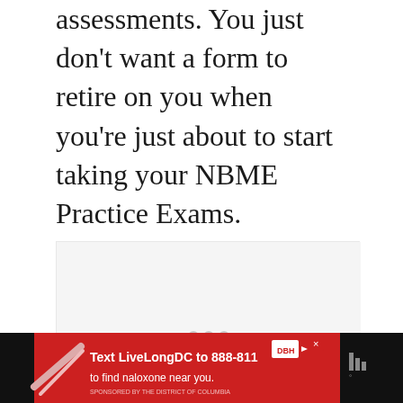assessments. You just don't want a form to retire on you when you're just about to start taking your NBME Practice Exams.
[Figure (other): Blank light gray placeholder image area with three pagination dots at the bottom center]
[Figure (infographic): Advertisement banner: dark background bar with red ad content. Text reads 'Text LiveLongDC to 888-811 to find naloxone near you.' with DBH logo and government agency attribution. Shows a pen/syringe in the left portion. Tubi app icon on the right.]